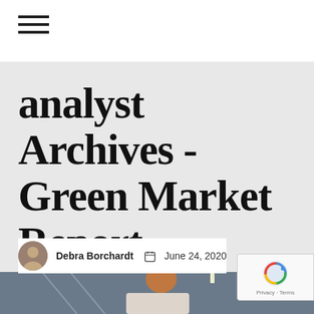analyst Archives - Green Market Report
analyst Archives - Green Market Report
Debra Borchardt  June 24, 2020
[Figure (photo): Bottom portion of page showing a person with reddish/orange hair in what appears to be a studio or gym setting with grey walls and ceiling lights]